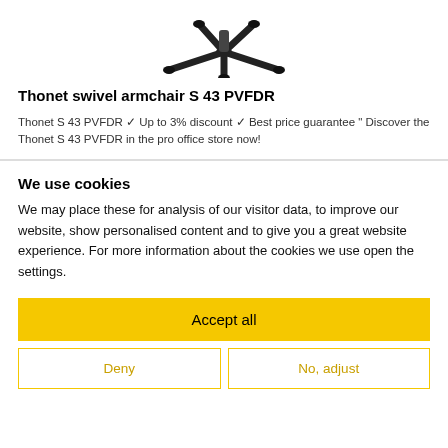[Figure (photo): Bottom view of a black office swivel armchair (Thonet S 43 PVFDR) showing the base and casters, cropped at the top of the page.]
Thonet swivel armchair S 43 PVFDR
Thonet S 43 PVFDR ✓ Up to 3% discount ✓ Best price guarantee " Discover the Thonet S 43 PVFDR in the pro office store now!
We use cookies
We may place these for analysis of our visitor data, to improve our website, show personalised content and to give you a great website experience. For more information about the cookies we use open the settings.
Accept all
Deny
No, adjust